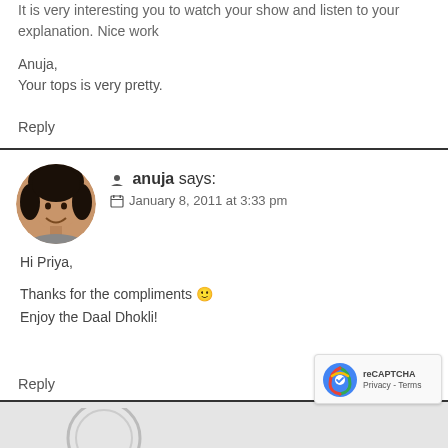It is very interesting you to watch your show and listen to your explanation. Nice work
Anuja,
Your tops is very pretty.
Reply
anuja says:
January 8, 2011 at 3:33 pm
Hi Priya,

Thanks for the compliments 🙂
Enjoy the Daal Dhokli!
Reply
[Figure (photo): Circular avatar photo of Anuja, a woman with dark hair, smiling]
[Figure (logo): reCAPTCHA badge with recycle arrows logo, Privacy and Terms links]
[Figure (photo): Partial circular logo/image at bottom of page, gray area]